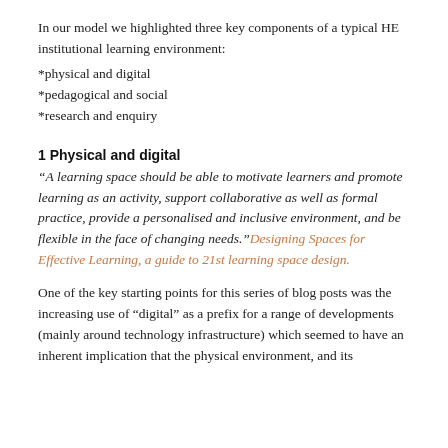In our model we highlighted three key components of a typical HE institutional learning environment:
*physical and digital
*pedagogical and social
*research and enquiry
1 Physical and digital
“A learning space should be able to motivate learners and promote learning as an activity, support collaborative as well as formal practice, provide a personalised and inclusive environment, and be flexible in the face of changing needs.”Designing Spaces for Effective Learning, a guide to 21st learning space design.
One of the key starting points for this series of blog posts was the increasing use of “digital” as a prefix for a range of developments (mainly around technology infrastructure) which seemed to have an inherent implication that the physical environment, and its